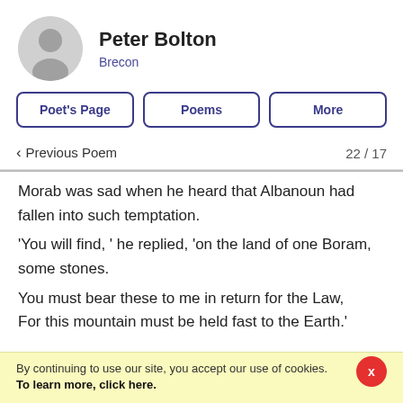[Figure (illustration): Circular avatar placeholder icon of a person silhouette in grey]
Peter Bolton
Brecon
Poet's Page   Poems   More
‹ Previous Poem   22 / 17
Morab was sad when he heard that Albanoun had fallen into such temptation.
'You will find, ' he replied, 'on the land of one Boram, some stones.
You must bear these to me in return for the Law,
For this mountain must be held fast to the Earth.'
Albanoun was pleased because he had no difficulty in
By continuing to use our site, you accept our use of cookies.
To learn more, click here.